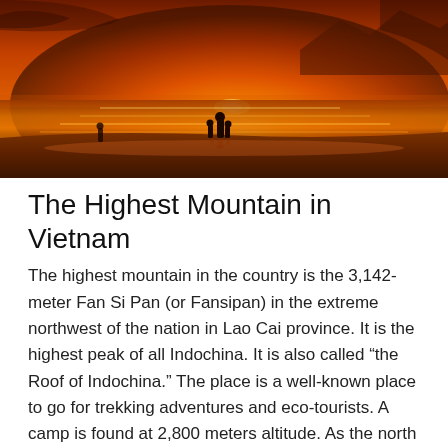[Figure (photo): Sunset beach photo showing silhouettes of people (appears to be an adult with children) standing on a sandy beach with wet sand reflecting orange and golden sunset light. Mountains are faintly visible in the background across the water. The sky is deep orange and golden.]
The Highest Mountain in Vietnam
The highest mountain in the country is the 3,142-meter Fan Si Pan (or Fansipan) in the extreme northwest of the nation in Lao Cai province. It is the highest peak of all Indochina. It is also called “the Roof of Indochina.” The place is a well-known place to go for trekking adventures and eco-tourists. A camp is found at 2,800 meters altitude. As the north of Vietnam is dominated by the hills of the Yunnan Highlands and the Annamite Highlands, the 40,000 square kilometer Mekong Delta accounts for much of the south. The whole delta is only a couple of meters above